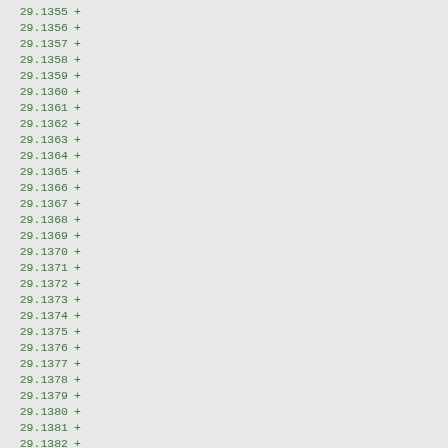Code diff view showing lines 29.1355 through 29.1386 with + markers and code snippets including }, if(, {, }, }, /////, switch(func, {